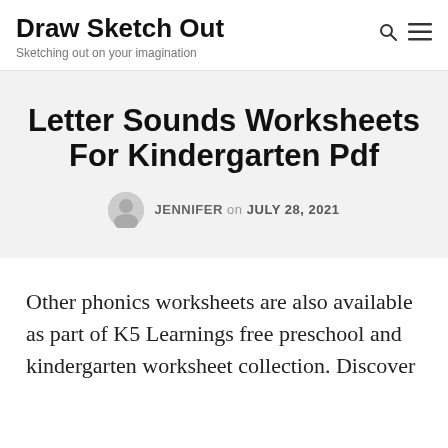Draw Sketch Out — Sketching out on your imagination
Letter Sounds Worksheets For Kindergarten Pdf
JENNIFER on JULY 28, 2021
Other phonics worksheets are also available as part of K5 Learnings free preschool and kindergarten worksheet collection. Discover